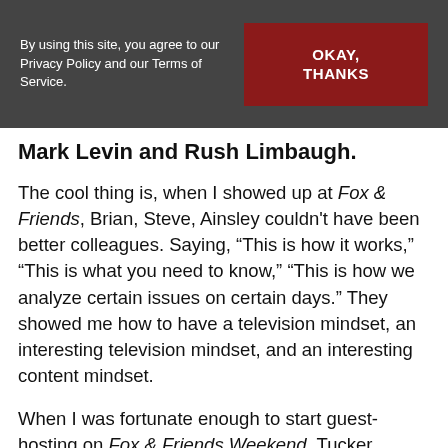By using this site, you agree to our Privacy Policy and our Terms of Service. | OKAY, THANKS
Mark Levin and Rush Limbaugh.
The cool thing is, when I showed up at Fox & Friends, Brian, Steve, Ainsley couldn't have been better colleagues. Saying, “This is how it works,” “This is what you need to know,” “This is how we analyze certain issues on certain days.” They showed me how to have a television mindset, an interesting television mindset, and an interesting content mindset.
When I was fortunate enough to start guest-hosting on Fox & Friends Weekend, Tucker Carlson was still the co-host. In fact, when he went to primetime right